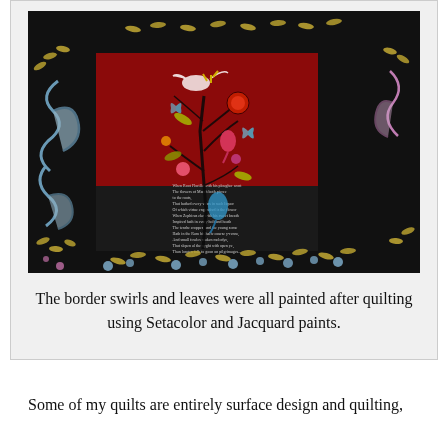[Figure (photo): A decorative quilt or textile artwork with a black border featuring blue swirls, gold leaves, and pink flowers. The center has a dark red (crimson) background with colorful embroidered birds, butterflies, flowers, and a tree of life motif. The lower portion of the center panel contains a block of small text (a poem or verse). The border corners and sides are richly decorated with painted motifs.]
The border swirls and leaves were all painted after quilting using Setacolor and Jacquard paints.
Some of my quilts are entirely surface design and quilting,